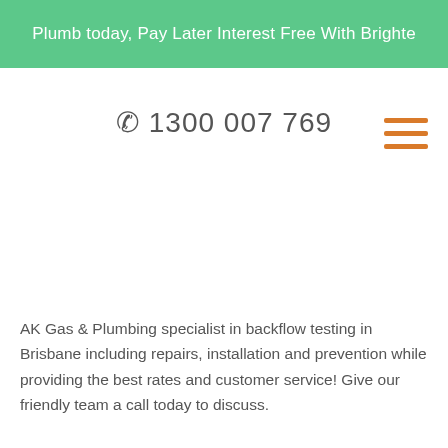Plumb today, Pay Later Interest Free With Brighte
☎ 1300 007 769
[Figure (other): Hamburger menu icon with three horizontal orange lines]
AK Gas & Plumbing specialist in backflow testing in Brisbane including repairs, installation and prevention while providing the best rates and customer service! Give our friendly team a call today to discuss.